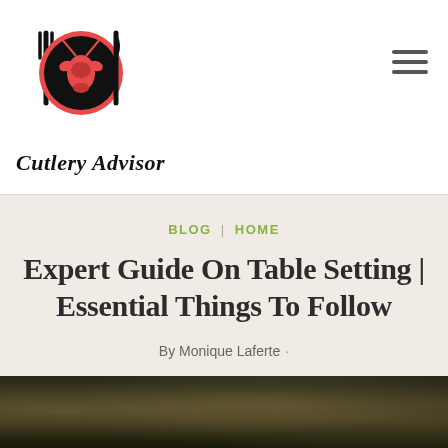[Figure (logo): Cutlery Advisor logo: fork, plate with lobster, knife icon above italic text 'Cutlery Advisor']
BLOG | HOME
Expert Guide On Table Setting | Essential Things To Follow
By Monique Laferte ·
[Figure (photo): Dark outdoor photo strip at the bottom of the page, outdoor evening scene with bokeh lights]